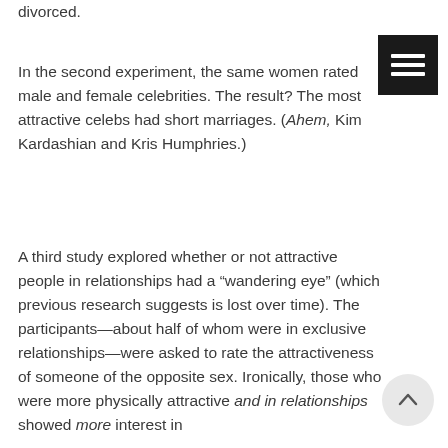divorced.
In the second experiment, the same women rated male and female celebrities. The result? The most attractive celebs had short marriages. (Ahem, Kim Kardashian and Kris Humphries.)
A third study explored whether or not attractive people in relationships had a “wandering eye” (which previous research suggests is lost over time). The participants—about half of whom were in exclusive relationships—were asked to rate the attractiveness of someone of the opposite sex. Ironically, those who were more physically attractive and in relationships showed more interest in